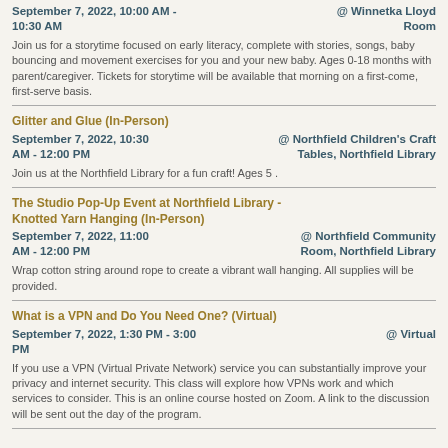September 7, 2022, 10:00 AM - 10:30 AM @ Winnetka Lloyd Room
Join us for a storytime focused on early literacy, complete with stories, songs, baby bouncing and movement exercises for you and your new baby. Ages 0-18 months with parent/caregiver. Tickets for storytime will be available that morning on a first-come, first-serve basis.
Glitter and Glue (In-Person)
September 7, 2022, 10:30 AM - 12:00 PM @ Northfield Children's Craft Tables, Northfield Library
Join us at the Northfield Library for a fun craft! Ages 5 .
The Studio Pop-Up Event at Northfield Library - Knotted Yarn Hanging (In-Person)
September 7, 2022, 11:00 AM - 12:00 PM @ Northfield Community Room, Northfield Library
Wrap cotton string around rope to create a vibrant wall hanging. All supplies will be provided.
What is a VPN and Do You Need One? (Virtual)
September 7, 2022, 1:30 PM - 3:00 PM @ Virtual
If you use a VPN (Virtual Private Network) service you can substantially improve your privacy and internet security. This class will explore how VPNs work and which services to consider. This is an online course hosted on Zoom. A link to the discussion will be sent out the day of the program.